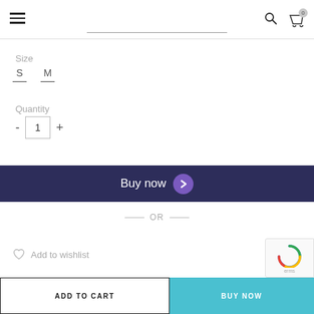Navigation header with hamburger menu, search bar, search icon, and cart icon
Size
S
M
Quantity
- 1 +
[Figure (other): Buy now button with dark navy background, white text 'Buy now' and purple circle arrow icon]
— OR —
Add to wishlist
[Figure (other): Partial reCAPTCHA badge with blue spinner and 'erms' text visible]
ADD TO CART | BUY NOW